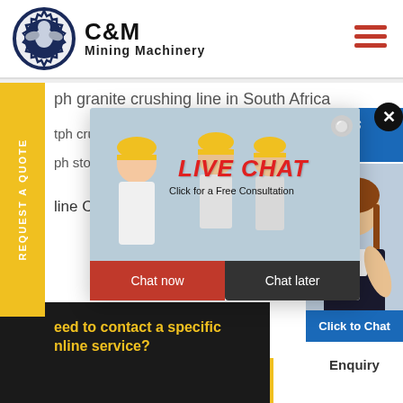[Figure (logo): C&M Mining Machinery logo with eagle in gear icon and text]
ph granite crushing line in South Africa
tph crush
ph stone
line Cha
[Figure (screenshot): Live Chat popup with workers in hard hats, LIVE CHAT text in red italic, Click for a Free Consultation, Chat now and Chat later buttons]
[Figure (screenshot): Right side panel showing Hours, Online text in blue, customer service woman with headset, Click to Chat button, Enquiry text]
[Figure (screenshot): Yellow REQUEST A QUOTE vertical side tab]
need to contact a specific online service?